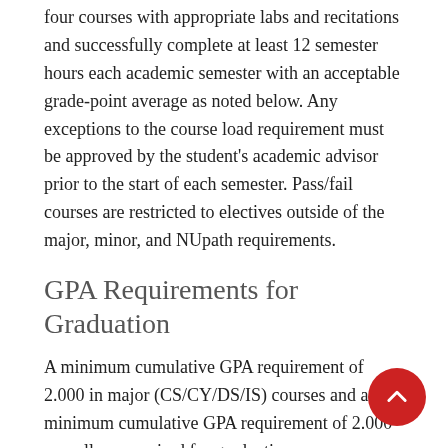four courses with appropriate labs and recitations and successfully complete at least 12 semester hours each academic semester with an acceptable grade-point average as noted below. Any exceptions to the course load requirement must be approved by the student's academic advisor prior to the start of each semester. Pass/fail courses are restricted to electives outside of the major, minor, and NUpath requirements.
GPA Requirements for Graduation
A minimum cumulative GPA requirement of 2.000 in major (CS/CY/DS/IS) courses and a minimum cumulative GPA requirement of 2.000 overall are required for graduation.
Criteria for Academic Probation